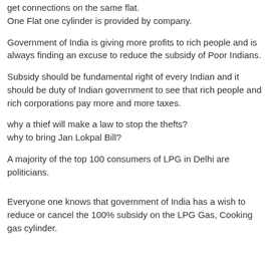get connections on the same flat.
One Flat one cylinder is provided by company.
Government of India is giving more profits to rich people and is always finding an excuse to reduce the subsidy of Poor Indians.
Subsidy should be fundamental right of every Indian and it should be duty of Indian government to see that rich people and rich corporations pay more and more taxes.
why a thief will make a law to stop the thefts?
why to bring Jan Lokpal Bill?
A majority of the top 100 consumers of LPG in Delhi are politicians.
Everyone one knows that government of India has a wish to reduce or cancel the 100% subsidy on the LPG Gas, Cooking gas cylinder.